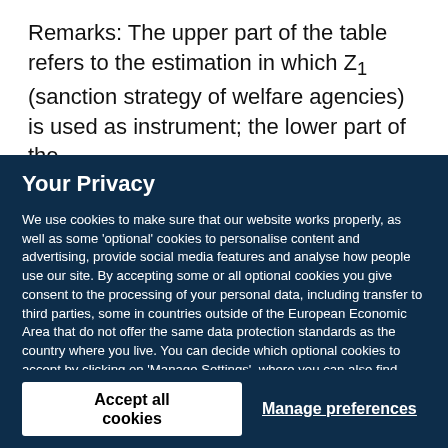Remarks: The upper part of the table refers to the estimation in which Z₁ (sanction strategy of welfare agencies) is used as instrument; the lower part of the
Your Privacy
We use cookies to make sure that our website works properly, as well as some 'optional' cookies to personalise content and advertising, provide social media features and analyse how people use our site. By accepting some or all optional cookies you give consent to the processing of your personal data, including transfer to third parties, some in countries outside of the European Economic Area that do not offer the same data protection standards as the country where you live. You can decide which optional cookies to accept by clicking on 'Manage Settings', where you can also find more information about how your personal data is processed. Further information can be found in our privacy policy.
Accept all cookies
Manage preferences